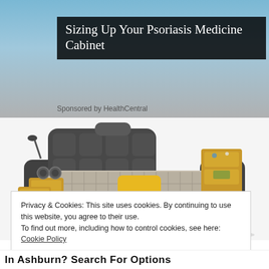[Figure (photo): Advertisement photo with dark overlay title box showing 'Sizing Up Your Psoriasis Medicine Cabinet' on a background image of a person, sponsored by HealthCentral]
Sponsored by HealthCentral
[Figure (photo): Photo of a modern multifunctional bed with gray upholstery, built-in wooden side shelves, a yellow pillow, checkered bedding, speakers and storage drawers on the left side]
Privacy & Cookies: This site uses cookies. By continuing to use this website, you agree to their use.
To find out more, including how to control cookies, see here: Cookie Policy
Close and accept
In Ashburn? Search For Options